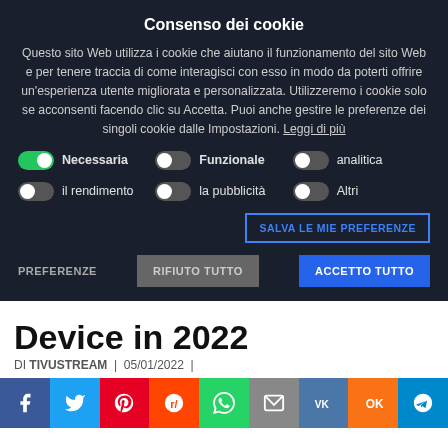Consenso dei cookie
Questo sito Web utilizza i cookie che aiutano il funzionamento del sito Web e per tenere traccia di come interagisci con esso in modo da poterti offrire un'esperienza utente migliorata e personalizzata. Utilizzeremo i cookie solo se acconsenti facendo clic su Accetta. Puoi anche gestire le preferenze dei singoli cookie dalle Impostazioni. Leggi di più
Necessaria (toggle on), Funzionale (toggle off), analitica (toggle off)
il rendimento (toggle off), la pubblicità (toggle off), Altri (toggle off)
SALVA LE MIE PREFERENZE
PREFERENZE  RIFIUTO TUTTO  ACCETTO TUTTO
Device in 2022
DI TIVUSTREAM | 05/01/2022 |
[Figure (infographic): Social sharing bar with icons: Facebook, Twitter, Pinterest, Reddit, WhatsApp, Email, VK, Odnoklassniki, Telegram]